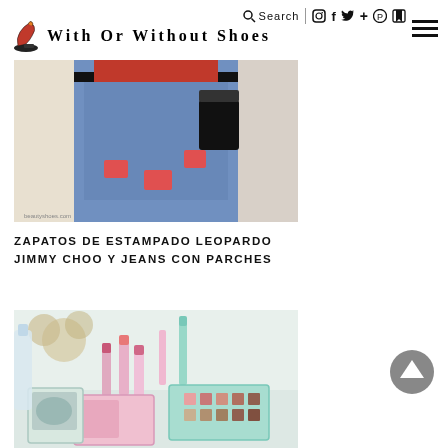With Or Without Shoes — Search, social icons, hamburger menu
[Figure (photo): Fashion photo showing person wearing blue jeans with patches and a red top, holding a black bag, wearing leopard print heeled shoes]
ZAPATOS DE ESTAMPADO LEOPARDO JIMMY CHOO Y JEANS CON PARCHES
[Figure (photo): Beauty/makeup photo showing pink and mint colored makeup products including lipsticks, mascara, an eyeshadow palette, and a blush compact on a light surface]